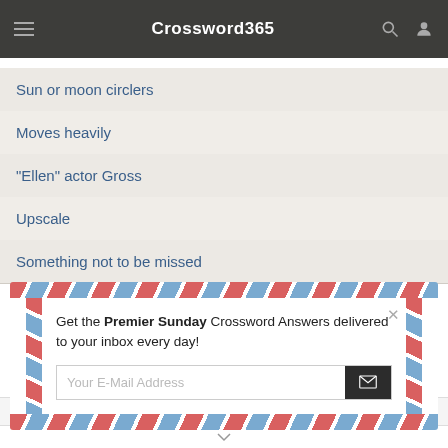Crossword365
Sun or moon circlers
Moves heavily
"Ellen" actor Gross
Upscale
Something not to be missed
[Figure (screenshot): Airmail-style popup with email subscription form. Text: Get the Premier Sunday Crossword Answers delivered to your inbox every day! With email input field and submit button.]
Get the Premier Sunday Crossword Answers delivered to your inbox every day!
Your E-Mail Address
This website uses cookies to ensure you get the best experience on our website